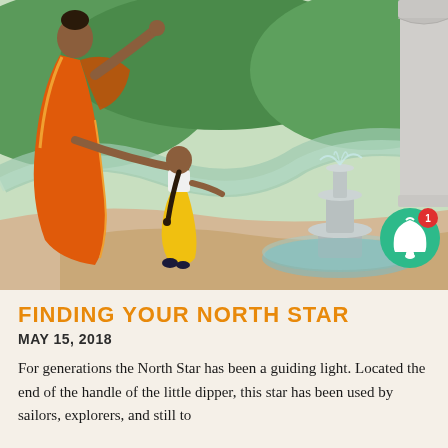[Figure (illustration): Digital illustration of a woman in an orange sari holding hands with a young girl in a yellow skirt and dark shoes, walking toward a decorative stone fountain in a lush green landscape with winding paths. A teal notification bell icon with '1' badge appears in the lower right corner.]
FINDING YOUR NORTH STAR
MAY 15, 2018
For generations the North Star has been a guiding light. Located the end of the handle of the little dipper, this star has been used by sailors, explorers, and still to